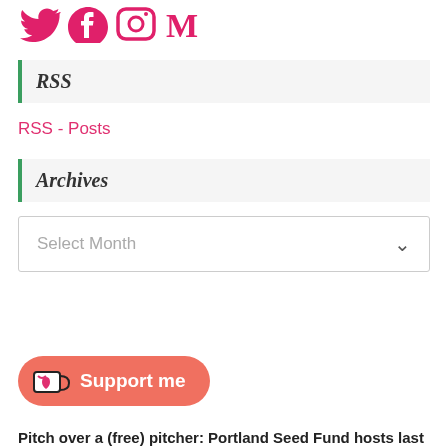[Figure (logo): Social media icons: Twitter, Facebook, Instagram, Medium (pink/magenta colored)]
RSS
RSS - Posts
Archives
Select Month
[Figure (other): Support me button with coffee cup icon on coral/salmon background]
Pitch over a (free) pitcher: Portland Seed Fund hosts last